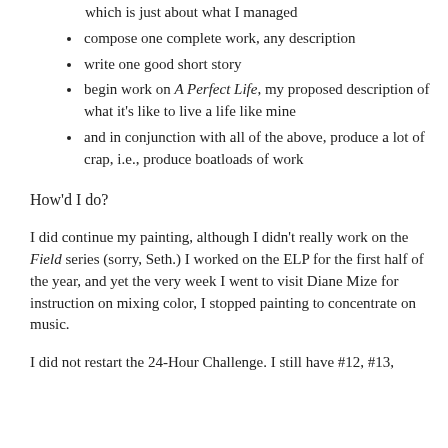which is just about what I managed
compose one complete work, any description
write one good short story
begin work on A Perfect Life, my proposed description of what it's like to live a life like mine
and in conjunction with all of the above, produce a lot of crap, i.e., produce boatloads of work
How'd I do?
I did continue my painting, although I didn't really work on the Field series (sorry, Seth.) I worked on the ELP for the first half of the year, and yet the very week I went to visit Diane Mize for instruction on mixing color, I stopped painting to concentrate on music.
I did not restart the 24-Hour Challenge. I still have #12, #13,